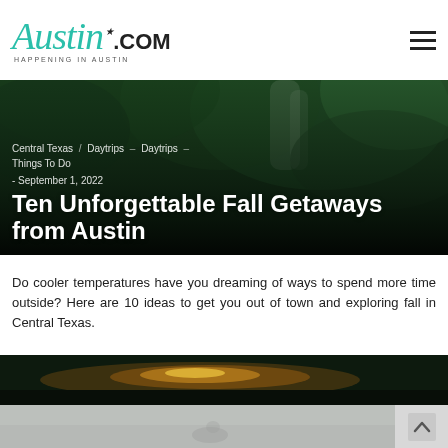Austin.com — HAPPENING IN AUSTIN
[Figure (photo): Hero image showing green mossy waterfall with dark overlay, displaying breadcrumb navigation, date, and article title]
Central Texas / Daytrips – Daytrips Things To Do - September 1, 2022
Ten Unforgettable Fall Getaways from Austin
Do cooler temperatures have you dreaming of ways to spend more time outside? Here are 10 ideas to get you out of town and exploring fall in Central Texas.
[Figure (photo): Dark landscape photo showing glowing light on dark ground, appears to be a nature/outdoor scene]
[Figure (photo): Gray/misty landscape photo with faint animal or landscape silhouette, scroll-to-top button on right side]